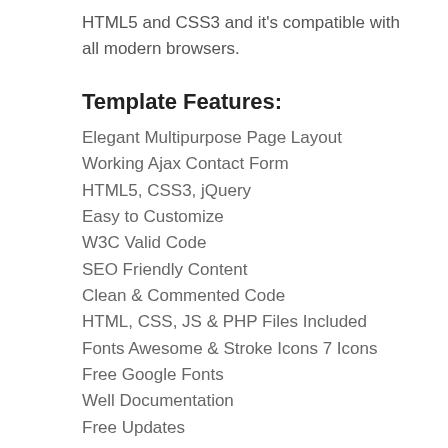HTML5 and CSS3 and it's compatible with all modern browsers.
Template Features:
Elegant Multipurpose Page Layout
Working Ajax Contact Form
HTML5, CSS3, jQuery
Easy to Customize
W3C Valid Code
SEO Friendly Content
Clean & Commented Code
HTML, CSS, JS & PHP Files Included
Fonts Awesome & Stroke Icons 7 Icons
Free Google Fonts
Well Documentation
Free Updates